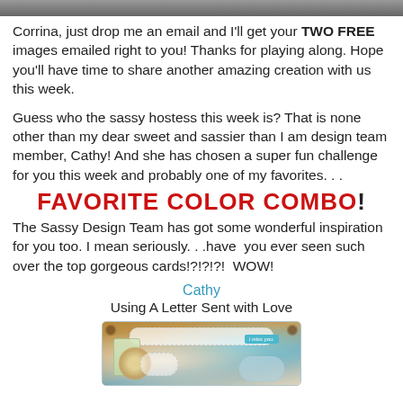[Figure (photo): Partial top image cropped at top of page]
Corrina, just drop me an email and I'll get your TWO FREE images emailed right to you!  Thanks for playing along. Hope you'll have time to share another amazing creation with us this week.
Guess who the sassy hostess this week is?  That is none other than my dear sweet and sassier than I am design team member, Cathy!  And she has chosen a super fun challenge for you this week and probably one of my favorites. . .
FAVORITE COLOR COMBO!
The Sassy Design Team has got some wonderful inspiration for you too. I mean seriously. . .have  you ever seen such over the top gorgeous cards!?!?!?!  WOW!
Cathy
Using A Letter Sent with Love
[Figure (photo): Handmade greeting card with lace doily, teal and brown elements, tags, and 'i miss you' label]